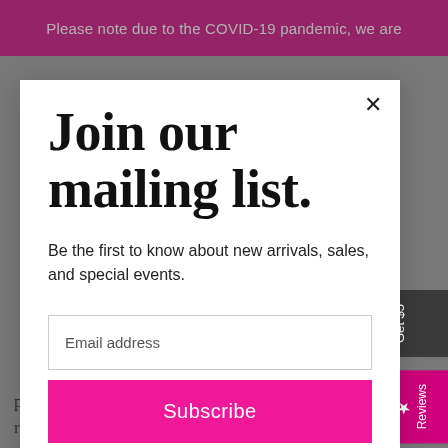Please note due to the COVID-19 pandemic, we are
Join our mailing list.
Be the first to know about new arrivals, sales, and special events.
Email address
Subscribe
pursue any action in this regard, the Licensor shall have the right to employ counsel of its own choice and direct the